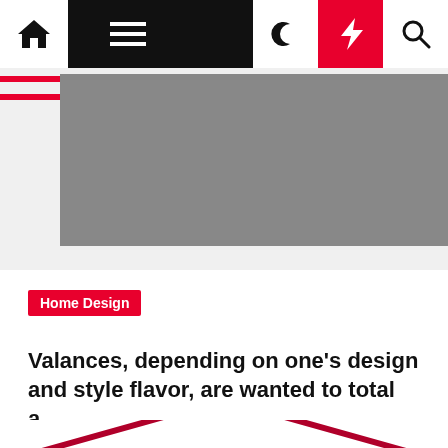Navigation bar with home, menu, moon, lightning, and search icons
[Figure (photo): Gray placeholder hero image area]
Home Design
Valances, depending on one's design and style flavor, are wanted to total a…
Melissa M. Munoz  2 years ago
[Figure (illustration): Partial decorative logo/illustration visible at bottom — red arch/house shape on white background]